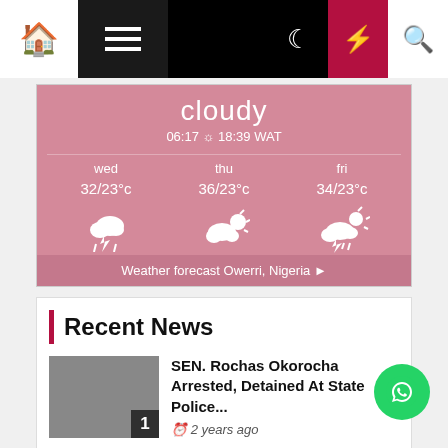[Figure (screenshot): Navigation bar with home icon, hamburger menu, moon/night mode icon, lightning bolt icon (highlighted in red), and search icon]
[Figure (infographic): Weather widget showing cloudy conditions, time 06:17 sunrise to 18:39 WAT, 3-day forecast: wed 32/23°c thunderstorm, thu 36/23°c partly cloudy, fri 34/23°c thunderstorm with sun. Footer: Weather forecast Owerri, Nigeria]
Recent News
[Figure (photo): Thumbnail image placeholder grey box with number 1]
SEN. Rochas Okorocha Arrested, Detained At State Police...
2 years ago